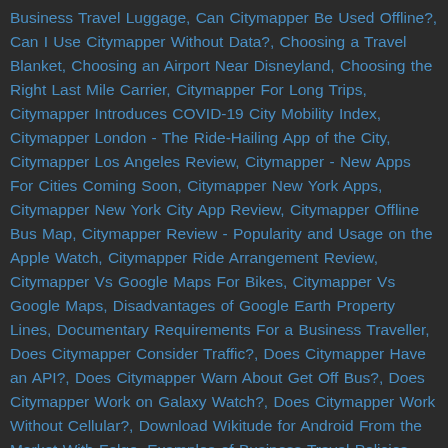Business Travel Luggage, Can Citymapper Be Used Offline?, Can I Use Citymapper Without Data?, Choosing a Travel Blanket, Choosing an Airport Near Disneyland, Choosing the Right Last Mile Carrier, Citymapper For Long Trips, Citymapper Introduces COVID-19 City Mobility Index, Citymapper London - The Ride-Hailing App of the City, Citymapper Los Angeles Review, Citymapper - New Apps For Cities Coming Soon, Citymapper New York Apps, Citymapper New York City App Review, Citymapper Offline Bus Map, Citymapper Review - Popularity and Usage on the Apple Watch, Citymapper Ride Arrangement Review, Citymapper Vs Google Maps For Bikes, Citymapper Vs Google Maps, Disadvantages of Google Earth Property Lines, Documentary Requirements For a Business Traveller, Does Citymapper Consider Traffic?, Does Citymapper Have an API?, Does Citymapper Warn About Get Off Bus?, Does Citymapper Work on Galaxy Watch?, Does Citymapper Work Without Cellular?, Download Wikitude for Android From the Market With Felgo, Examples of Business Travel Policies, Exploring the Great Wall of China in Google Earth, Facts About Crossrail Farringdon Station, Fancy a coffee at the train station in Irvington, Farringdon Tube Station in Clerkenwell, Getting Around Las Vegas With Wikiroutes, Google Earth Alternatives, Google Earth Black Zones Revealed, Google Earth Easter Eggs, Google Earth Studio - How to Make Videos With Google Earth, Google Earth Vs